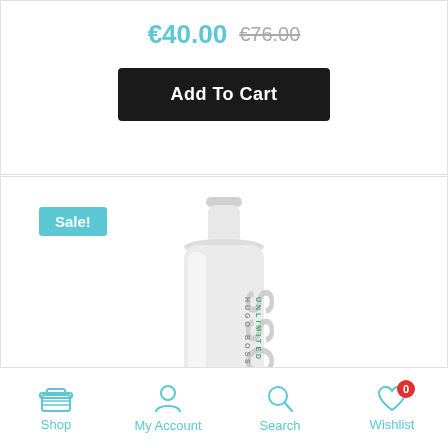€40.00  €76.00
Add To Cart
Sale!
[Figure (photo): Hugo Boss Bottled Unlimited fragrance bottle, white/silver design with BOSS and HUGO BOSS UNLIMITED text on bottle]
Shop | My Account | Search | Wishlist